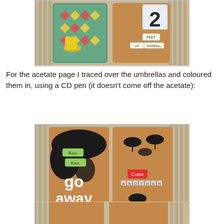[Figure (photo): Craft scrapbook mini book open showing decorative pages with rubber boot stickers, patterned paper with diamonds, and label stickers reading 'RAINFALL' on a bamboo mat background]
For the acetate page I traced over the umbrellas and coloured them in, using a CD pen (it doesn't come off the acetate):
[Figure (photo): Craft scrapbook mini book open showing pages with umbrella acetate overlay, text 'go away' in white lettering, 'Rain.' sticker tags, 'Come' label, 'ANOTHER' letter tiles, red polka dot umbrella decoration on bamboo mat background]
[Figure (photo): Partial view of another craft scrapbook mini book page, cropped at bottom of page]